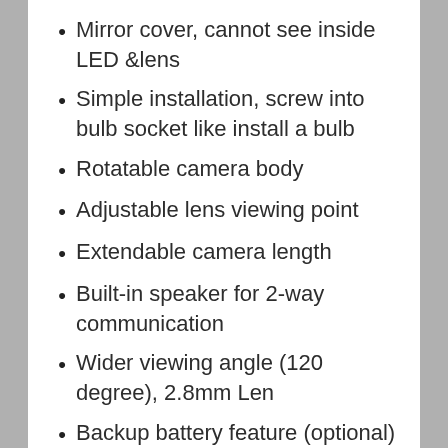Mirror cover, cannot see inside LED &lens
Simple installation, screw into bulb socket like install a bulb
Rotatable camera body
Adjustable lens viewing point
Extendable camera length
Built-in speaker for 2-way communication
Wider viewing angle (120 degree), 2.8mm Len
Backup battery feature (optional) [Add USD2 for this option], end user use own backup battery, no battery included